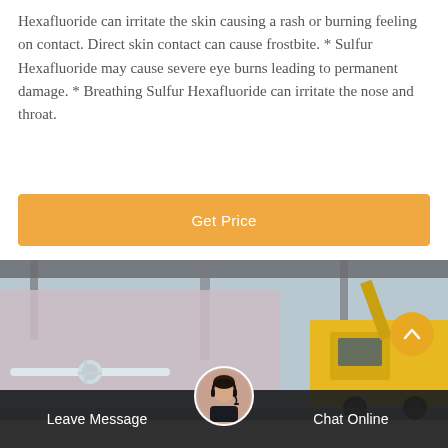Hexafluoride can irritate the skin causing a rash or burning feeling on contact. Direct skin contact can cause frostbite. * Sulfur Hexafluoride may cause severe eye burns leading to permanent damage. * Breathing Sulfur Hexafluoride can irritate the nose and throat.
Get Price
[Figure (photo): Industrial site with yellow utility truck and piping equipment under a large structure]
Leave Message
Chat Online